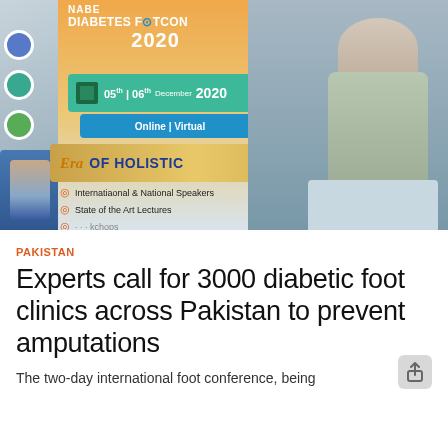[Figure (photo): A man in a grey blazer stands at a podium in front of a conference banner reading 'NABE DIABETES FOOTCON 2020, December 05th-06th 2020, Online | Virtual, Era of Holistic', with bullet points listing International & National Speakers and State of the Art Lectures.]
PAKISTAN
Experts call for 3000 diabetic foot clinics across Pakistan to prevent amputations
The two-day international foot conference, being